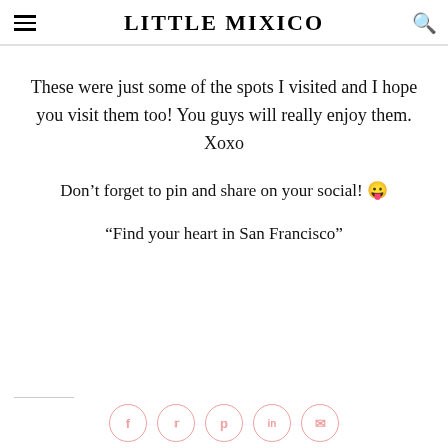LITTLE MIXICO
These were just some of the spots I visited and I hope you visit them too! You guys will really enjoy them. Xoxo
Don't forget to pin and share on your social! 😛
“Find your heart in San Francisco”